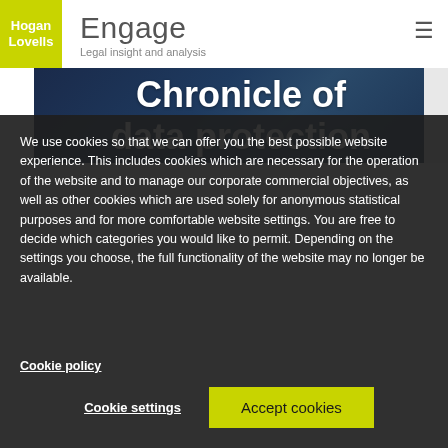[Figure (logo): Hogan Lovells logo with yellow/green background and white text]
Engage
Legal insight and analysis
[Figure (photo): Dark blue background hero image with bold white text reading 'Chronicle of data protection']
We use cookies so that we can offer you the best possible website experience. This includes cookies which are necessary for the operation of the website and to manage our corporate commercial objectives, as well as other cookies which are used solely for anonymous statistical purposes and for more comfortable website settings. You are free to decide which categories you would like to permit. Depending on the settings you choose, the full functionality of the website may no longer be available.
Cookie policy
Cookie settings
Accept cookies